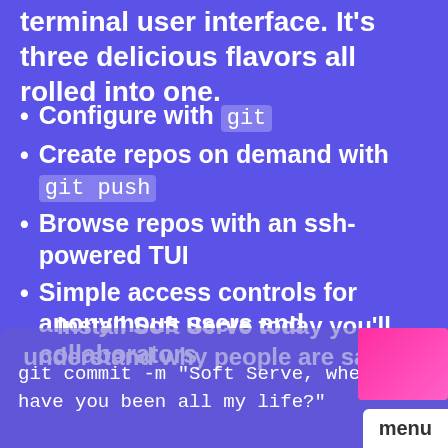terminal user interface. It’s three delicious flavors all rolled into one.
Configure with git
Create repos on demand with git push
Browse repos with an ssh-powered TUI
Simple access controls for anonymous users and collaborators
Install Soft Serve today you’ll understand why people are saying:
git commit -m "Soft Serve, where have you been all my life?"